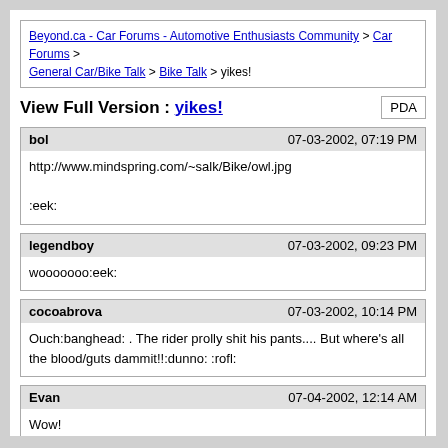Beyond.ca - Car Forums - Automotive Enthusiasts Community > Car Forums > General Car/Bike Talk > Bike Talk > yikes!
View Full Version : yikes!
| bol | 07-03-2002, 07:19 PM |
| --- | --- |
| http://www.mindspring.com/~salk/Bike/owl.jpg

:eek: |  |
| legendboy | 07-03-2002, 09:23 PM |
| --- | --- |
| wooooooo:eek: |  |
| cocoabrova | 07-03-2002, 10:14 PM |
| --- | --- |
| Ouch:banghead: . The rider prolly shit his pants.... But where's all the blood/guts dammit!!:dunno: :rofl: |  |
| Evan | 07-04-2002, 12:14 AM |
| --- | --- |
| Wow!

Bike - 1
Owl - 0

:clap:

:thumbsdow |  |